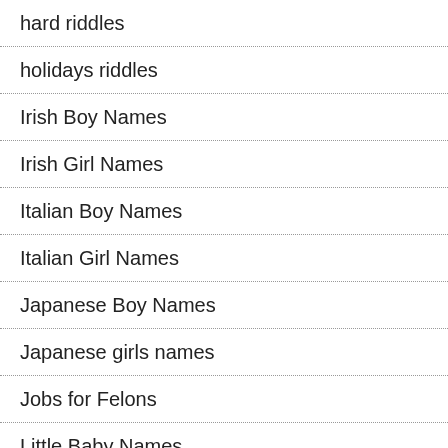hard riddles
holidays riddles
Irish Boy Names
Irish Girl Names
Italian Boy Names
Italian Girl Names
Japanese Boy Names
Japanese girls names
Jobs for Felons
Little Baby Names
logical
Math Riddles